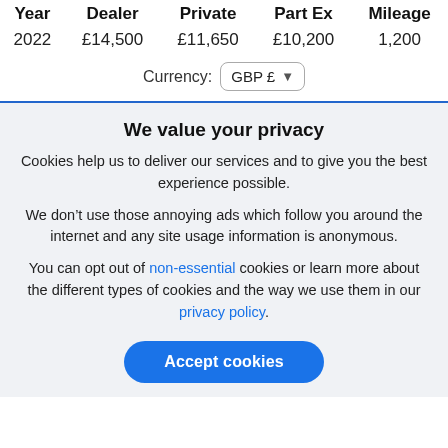| Year | Dealer | Private | Part Ex | Mileage |
| --- | --- | --- | --- | --- |
| 2022 | £14,500 | £11,650 | £10,200 | 1,200 |
Currency: GBP £
We value your privacy
Cookies help us to deliver our services and to give you the best experience possible.
We don't use those annoying ads which follow you around the internet and any site usage information is anonymous.
You can opt out of non-essential cookies or learn more about the different types of cookies and the way we use them in our privacy policy.
Accept cookies